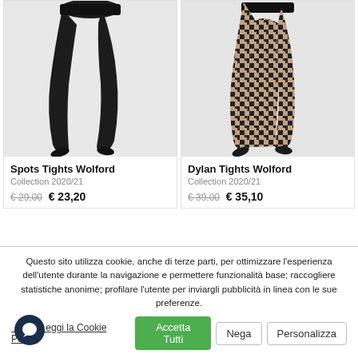[Figure (photo): Product photo of Spots Tights Wolford — black opaque tights on female legs, side view, white background]
[Figure (photo): Product photo of Dylan Tights Wolford — black houndstooth patterned tights on female legs, side view, white/grey background]
Spots Tights Wolford
Collection 2020/21
€ 29,00 € 23,20
Dylan Tights Wolford
Collection 2020/21
€ 39,00 € 35,10
Questo sito utilizza cookie, anche di terze parti, per ottimizzare l'esperienza dell'utente durante la navigazione e permettere funzionalità base; raccogliere statistiche anonime; profilare l'utente per inviargli pubblicità in linea con le sue preferenze.
Leggi la Cookie Policy
Accetta Tutti
Nega
Personalizza